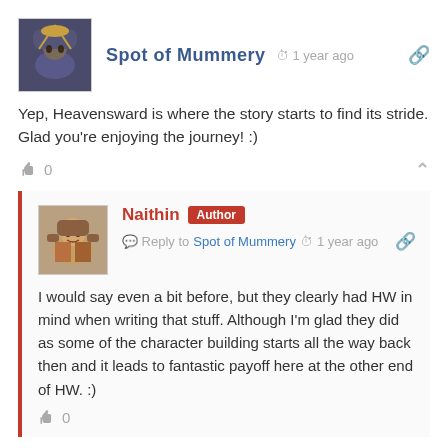[Figure (photo): Avatar image for Spot of Mummery, fantasy character with helmet and feathers]
Spot of Mummery  1 year ago
Yep, Heavensward is where the story starts to find its stride. Glad you're enjoying the journey! :)
0
[Figure (photo): Avatar image for Naithin, fantasy character with armor]
Naithin  Author  Reply to Spot of Mummery  1 year ago
I would say even a bit before, but they clearly had HW in mind when writing that stuff. Although I'm glad they did as some of the character building starts all the way back then and it leads to fantastic payoff here at the other end of HW. :)
0